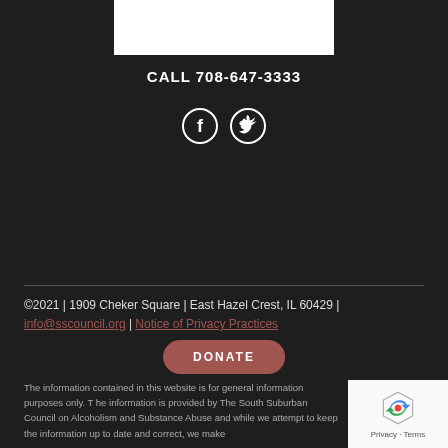[Figure (other): White rectangular box at top center, appears to be a logo or image placeholder]
CALL 708-647-3333
[Figure (other): Facebook and Twitter social media icons in circular white outlines on dark background]
DONATE
©2021 | 1909 Cheker Square | East Hazel Crest, IL 60429 | info@sscouncil.org | Notice of Privacy Practices
The information contained in this website is for general information purposes only. The information is provided by The South Suburban Council on Alcoholism and Substance Abuse and while we attempt to keep the information up to date and correct, we mak...